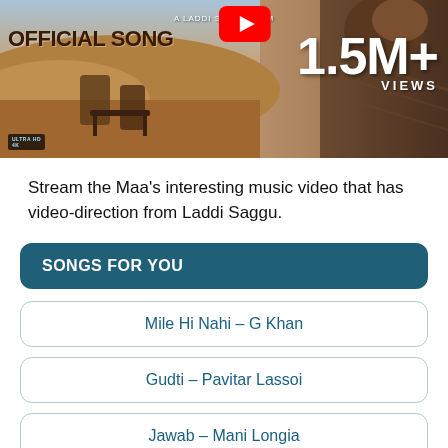[Figure (screenshot): YouTube thumbnail for 'Maa' official song — A Laddi Saggu Film. Shows text 'OFFICIAL SONG', YouTube logo, '1.5M+ VIEWS', ULTRA HD 4K badge, with desert scene background.]
Stream the Maa's interesting music video that has video-direction from Laddi Saggu.
SONGS FOR YOU
Mile Hi Nahi – G Khan
Gudti – Pavitar Lassoi
Jawab – Mani Longia